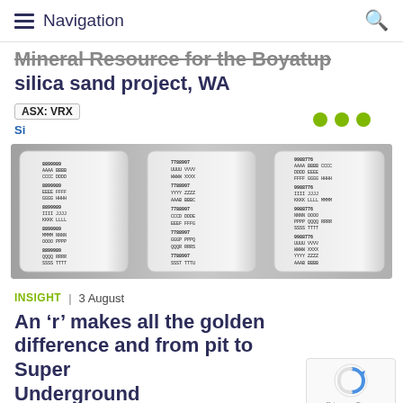Navigation
Mineral Resource for the Boyatup silica sand project, WA
ASX: VRX
Si
[Figure (photo): Photo of white cylindrical core sample containers with printed text labels, arranged side by side]
INSIGHT | 3 August
An ‘r’ makes all the golden difference and from pit to Super Underground